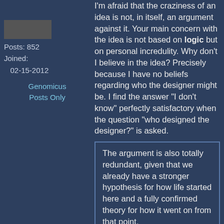Posts: 852
Joined:
02-15-2012
Genomicus
Posts Only
I'm afraid that the craziness of an idea is not, in itself, an argument against it. Your main concern with the idea is not based on logic but on personal incredulity. Why don't I believe in the idea? Precisely because I have no beliefs regarding who the designer might be. I find the answer "I don't know" perfectly satisfactory when the question "who designed the designer?" is asked.
The argument is also totally redundant, given that we already have a stronger hypothesis for how life started here and a fully confirmed theory for how it went on from that point.
You're completely ignoring my point. Let's go through this again.
I said:
As soon as you step into the question of a why a divine designer would have any bad designs, you have left the realm of